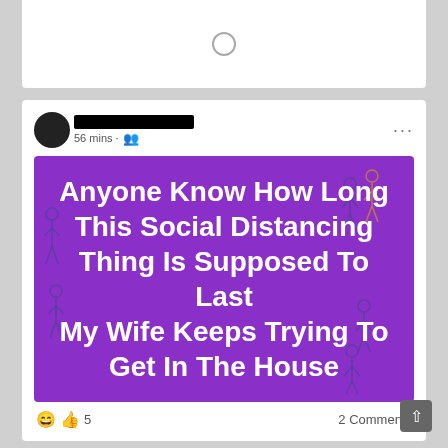[Figure (screenshot): Top portion of a Facebook post card with a clock/loading icon centered in a white card area]
56 mins · 👥
[Figure (illustration): A purple meme image with white bold text reading: Anyone Know How Long This Social Distancing Thing Is Supposed To Last My Wife Keeps Trying To Get In The House. Various illustrated people figures around the edges in blue/orange outlines.]
😄👍 5   2 Comments